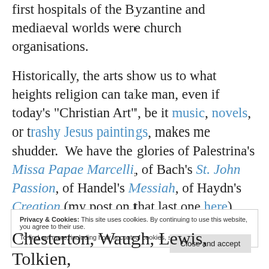first hospitals of the Byzantine and mediaeval worlds were church organisations.
Historically, the arts show us to what heights religion can take man, even if today's "Christian Art", be it music, novels, or trashy Jesus paintings, makes me shudder. We have the glories of Palestrina's Missa Papae Marcelli, of Bach's St. John Passion, of Handel's Messiah, of Haydn's Creation (my post on that last one here).
Privacy & Cookies: This site uses cookies. By continuing to use this website, you agree to their use. To find out more, including how to control cookies, see here: Cookie Policy
Close and accept
Chesterton, Waugh, Lewis, Tolkien,